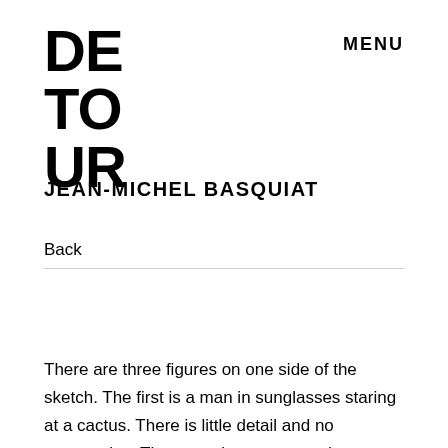DETOUR
MENU
JEAN-MICHEL BASQUIAT
Back
There are three figures on one side of the sketch. The first is a man in sunglasses staring at a cactus. There is little detail and no perspective. The man, the cactus, and tumbleweed that is lying